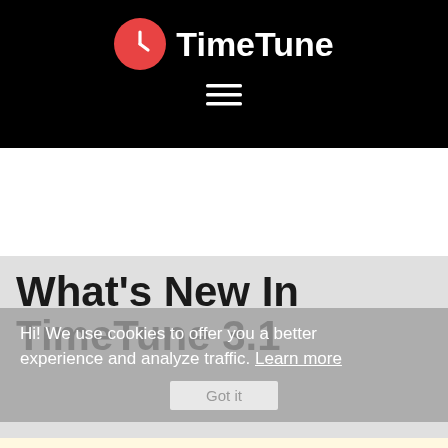TimeTune
What's New In TimeTune 3.1
Hi! We use cookies to offer you a better experience and analyze traffic. Learn more
SEPTEMBER 12, 2020 BY TIMETUNE STUDIO · LEAVE A COMMENT
CATEGORY: NEWS